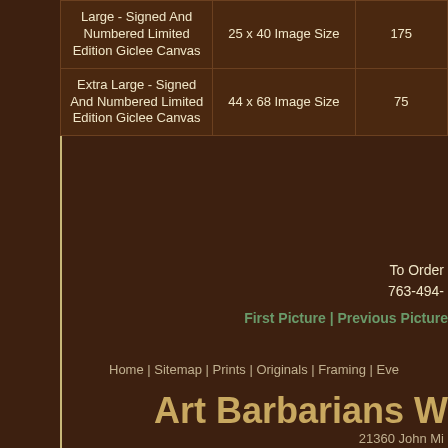| Type | Size | Edition |
| --- | --- | --- |
| Large - Signed And Numbered Limited Edition Giclee Canvas | 25 x 40 Image Size | 175 |
| Extra Large - Signed And Numbered Limited Edition Giclee Canvas | 44 x 68 Image Size | 75 |
To Order 763-494-
First Picture | Previous Picture
Home | Sitemap | Prints | Originals | Framing | Eve
Art Barbarians W
21360 John Mi
Rogers, MN
Ph: 763-